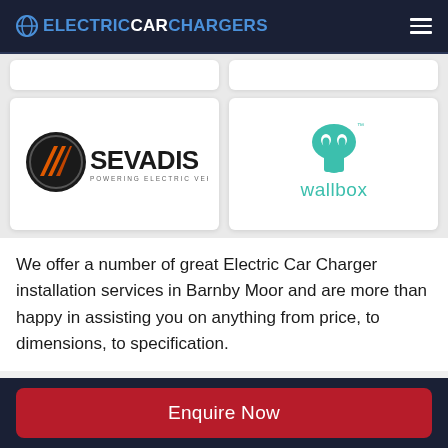ELECTRICCARCHARGERS
[Figure (logo): Sevadis logo — circular icon with orange/black diagonal lines, bold text SEVADIS, subtitle POWERING ELECTRIC VEHICLES]
[Figure (logo): Wallbox logo — teal mushroom/EV charger icon above the word wallbox in teal lowercase letters]
We offer a number of great Electric Car Charger installation services in Barnby Moor and are more than happy in assisting you on anything from price, to dimensions, to specification.
Enquire Now